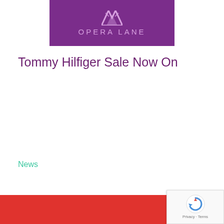[Figure (logo): Opera Lane purple logo with geometric icon and text OPERA LANE]
Tommy Hilfiger Sale Now On
News
[Figure (other): Red banner section at bottom of page]
[Figure (other): reCAPTCHA widget overlay showing spinning arrow icon and Privacy - Terms text]